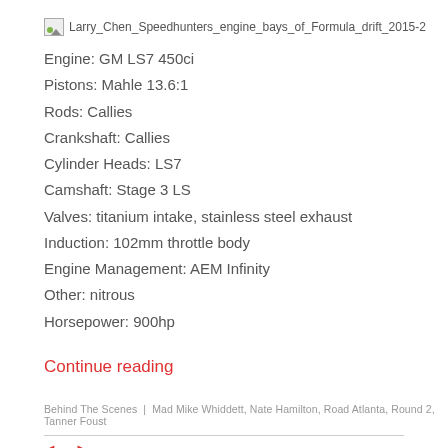[Figure (photo): Broken image placeholder for Larry_Chen_Speedhunters_engine_bays_of_Formula_drift_2015-2]
Engine: GM LS7 450ci
Pistons: Mahle 13.6:1
Rods: Callies
Crankshaft: Callies
Cylinder Heads: LS7
Camshaft: Stage 3 LS
Valves: titanium intake, stainless steel exhaust
Induction: 102mm throttle body
Engine Management: AEM Infinity
Other: nitrous
Horsepower: 900hp
Continue reading
Behind The Scenes | Mad Mike Whiddett, Nate Hamilton, Road Atlanta, Round 2, Tanner Foust